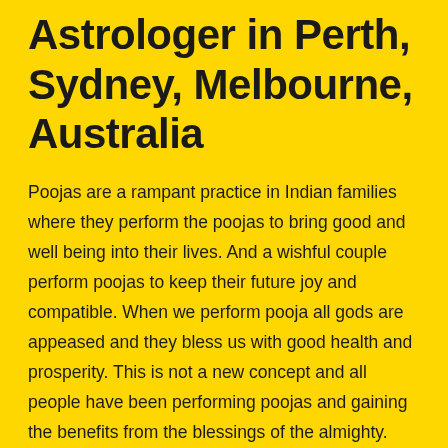Astrologer in Perth, Sydney, Melbourne, Australia
Poojas are a rampant practice in Indian families where they perform the poojas to bring good and well being into their lives. And a wishful couple perform poojas to keep their future joy and compatible. When we perform pooja all gods are appeased and they bless us with good health and prosperity. This is not a new concept and all people have been performing poojas and gaining the benefits from the blessings of the almighty. These are all the mediums of God's unbreakable Association with us. Pandith Gowri Ganesh Gurudev best psychic astrologer in perth have the discerning psychic powers to revoke this reflective connection.
A person will develop good qualities like concentration as well as